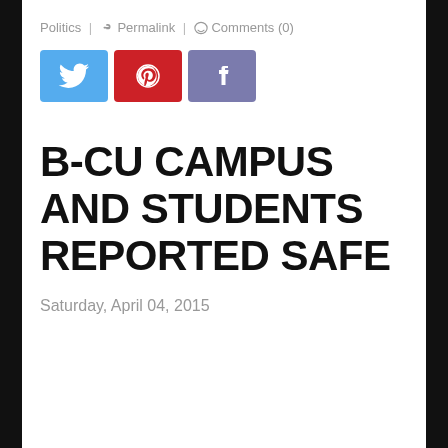Politics | Permalink | Comments (0)
[Figure (other): Social sharing buttons: Twitter (blue), Pinterest (red), Facebook (purple/blue)]
B-CU CAMPUS AND STUDENTS REPORTED SAFE
Saturday, April 04, 2015